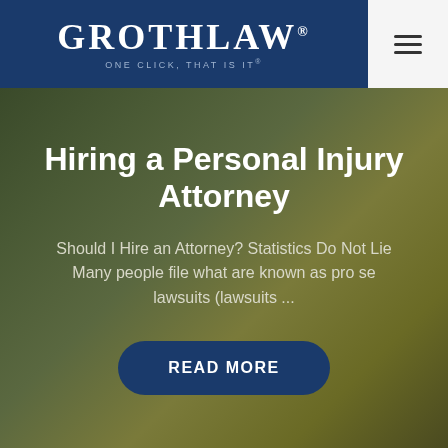GROTHLAW® ONE CLICK, THAT IS IT®
Hiring a Personal Injury Attorney
Should I Hire an Attorney? Statistics Do Not Lie Many people file what are known as pro se lawsuits (lawsuits ...
READ MORE